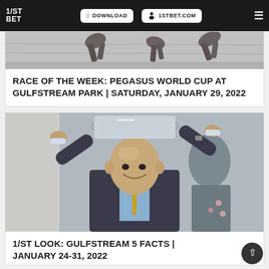1/ST BET — DOWNLOAD | 1STBET.COM
[Figure (photo): Horse hooves/legs in motion, racing scene, partial view]
RACE OF THE WEEK: PEGASUS WORLD CUP AT GULFSTREAM PARK | SATURDAY, JANUARY 29, 2022
[Figure (photo): Man in dark suit holding a trophy above his head with both arms raised, smiling, crowd in background]
1/ST LOOK: GULFSTREAM 5 FACTS | JANUARY 24-31, 2022